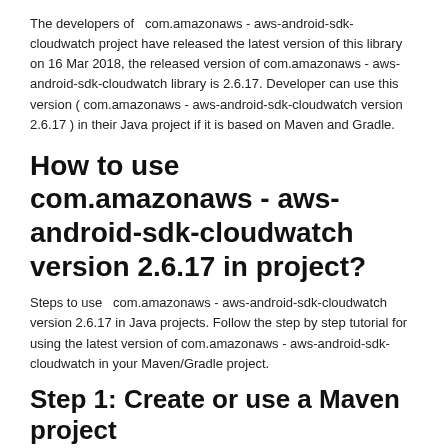The developers of  com.amazonaws - aws-android-sdk-cloudwatch project have released the latest version of this library on 16 Mar 2018, the released version of com.amazonaws - aws-android-sdk-cloudwatch library is 2.6.17. Developer can use this version ( com.amazonaws - aws-android-sdk-cloudwatch version 2.6.17 ) in their Java project if it is based on Maven and Gradle.
How to use  com.amazonaws - aws-android-sdk-cloudwatch version 2.6.17 in project?
Steps to use  com.amazonaws - aws-android-sdk-cloudwatch version 2.6.17 in Java projects. Follow the step by step tutorial for using the latest version of com.amazonaws - aws-android-sdk-cloudwatch in your Maven/Gradle project.
Step 1: Create or use a Maven project
First of all you have to create a new Java project based on maven project management tool if you don't have any...